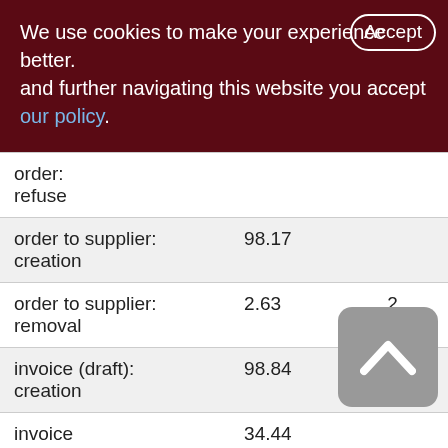We use cookies to make your experience better. By accepting and further navigating this website you accept our policy.
| Action | Value | Extra |
| --- | --- | --- |
| order:
refuse |  |  |
| order to supplier: creation | 98.17 |  |
| order to supplier: removal | 2.63 | 2 |
| invoice (draft): creation | 98.84 |  |
| invoice | 34.44 |  |